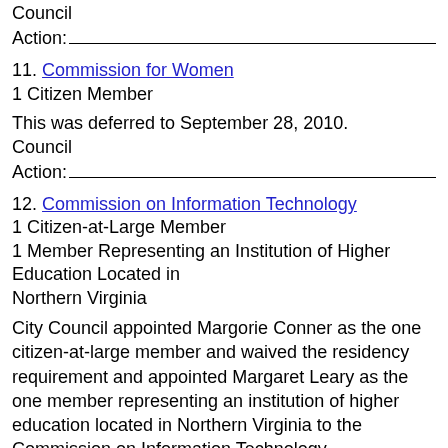Council
Action:
11. Commission for Women
1 Citizen Member
This was deferred to September 28, 2010.
Council
Action:
12. Commission on Information Technology
1 Citizen-at-Large Member
1 Member Representing an Institution of Higher Education Located in
Northern Virginia
City Council appointed Margorie Conner as the one citizen-at-large member and waived the residency requirement and appointed Margaret Leary as the one member representing an institution of higher education located in Northern Virginia to the Commission on Information Technology.
Council